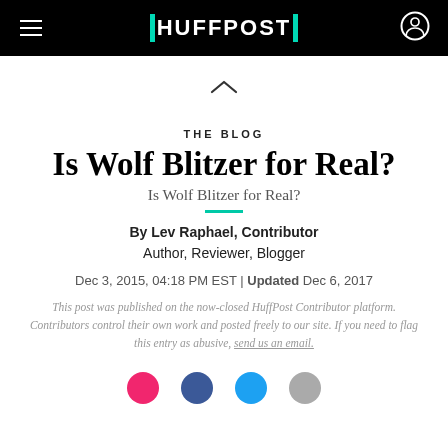HUFFPOST
[Figure (other): Chevron/caret up arrow icon centered on white background]
THE BLOG
Is Wolf Blitzer for Real?
Is Wolf Blitzer for Real?
By Lev Raphael, Contributor
Author, Reviewer, Blogger
Dec 3, 2015, 04:18 PM EST | Updated Dec 6, 2017
This post was published on the now-closed HuffPost Contributor platform. Contributors control their own work and posted freely to our site. If you need to flag this entry as abusive, send us an email.
[Figure (other): Social sharing icons row: red circle, blue Facebook, blue Twitter, gray circle]